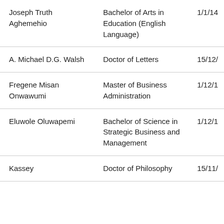| Joseph Truth Aghemehio | Bachelor of Arts in Education (English Language) | 1/1/14 |
| A. Michael D.G. Walsh | Doctor of Letters | 15/12/ |
| Fregene Misan Onwawumi | Master of Business Administration | 1/12/1 |
| Eluwole Oluwapemi | Bachelor of Science in Strategic Business and Management | 1/12/1 |
| Kassey | Doctor of Philosophy | 15/11/ |